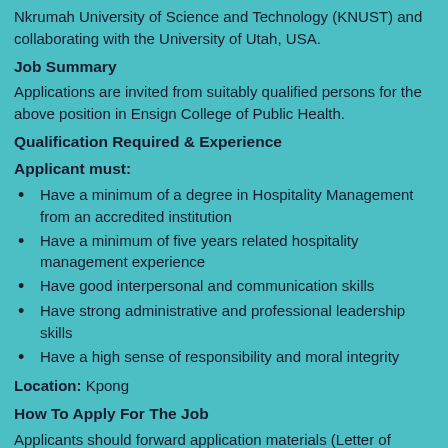Nkrumah University of Science and Technology (KNUST) and collaborating with the University of Utah, USA.
Job Summary
Applications are invited from suitably qualified persons for the above position in Ensign College of Public Health.
Qualification Required & Experience
Applicant must:
Have a minimum of a degree in Hospitality Management from an accredited institution
Have a minimum of five years related hospitality management experience
Have good interpersonal and communication skills
Have strong administrative and professional leadership skills
Have a high sense of responsibility and moral integrity
Location: Kpong
How To Apply For The Job
Applicants should forward application materials (Letter of interest, curriculum vitae with contact information for three (3) referees, and copies of certificate) electronically to: econbgh@gmail.com